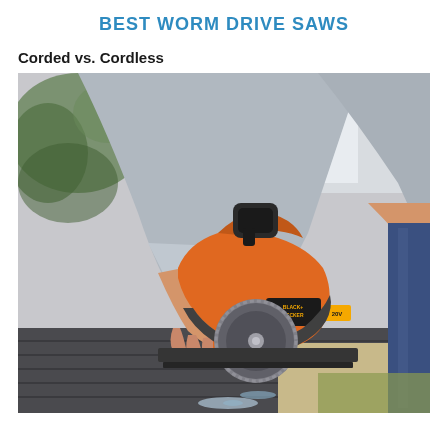BEST WORM DRIVE SAWS
Corded vs. Cordless
[Figure (photo): A person in a grey long-sleeve shirt using an orange and black BLACK+DECKER cordless circular saw to cut a dark surface, with a green plant visible in the blurred background.]